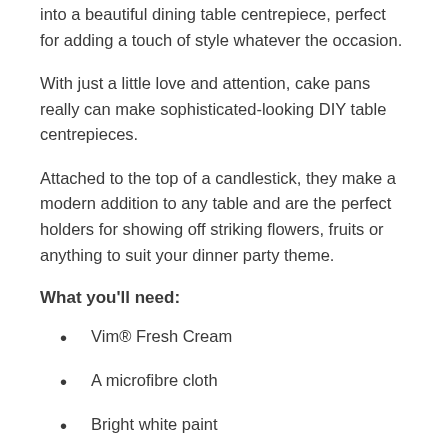into a beautiful dining table centrepiece, perfect for adding a touch of style whatever the occasion.
With just a little love and attention, cake pans really can make sophisticated-looking DIY table centrepieces.
Attached to the top of a candlestick, they make a modern addition to any table and are the perfect holders for showing off striking flowers, fruits or anything to suit your dinner party theme.
What you'll need:
Vim® Fresh Cream
A microfibre cloth
Bright white paint